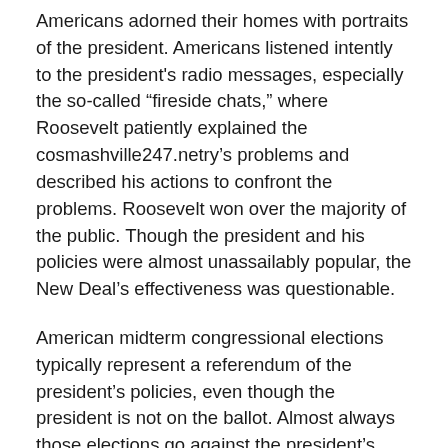Americans adorned their homes with portraits of the president. Americans listened intently to the president's radio messages, especially the so-called “fireside chats,” where Roosevelt patiently explained the cosmashville247.netry’s problems and described his actions to confront the problems. Roosevelt won over the majority of the public. Though the president and his policies were almost unassailably popular, the New Deal’s effectiveness was questionable.
American midterm congressional elections typically represent a referendum of the president’s policies, even though the president is not on the ballot. Almost always those elections go against the president’s party, with voters awarding seats in Congress to the opposition. The election of 1934 represented an exception to the rule. Democrats increased their control over both the House of Representatives and the United States Senate.